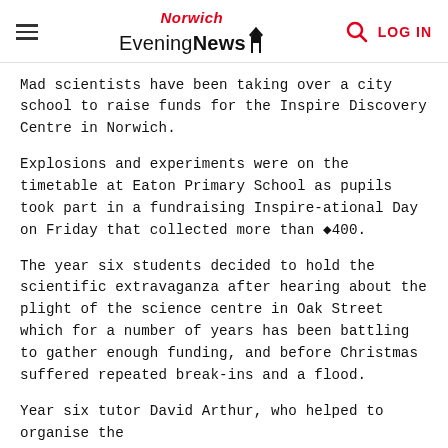Norwich Evening News — LOG IN
Mad scientists have been taking over a city school to raise funds for the Inspire Discovery Centre in Norwich.
Explosions and experiments were on the timetable at Eaton Primary School as pupils took part in a fundraising Inspire-ational Day on Friday that collected more than ◆400.
The year six students decided to hold the scientific extravaganza after hearing about the plight of the science centre in Oak Street which for a number of years has been battling to gather enough funding, and before Christmas suffered repeated break-ins and a flood.
Year six tutor David Arthur, who helped to organise the